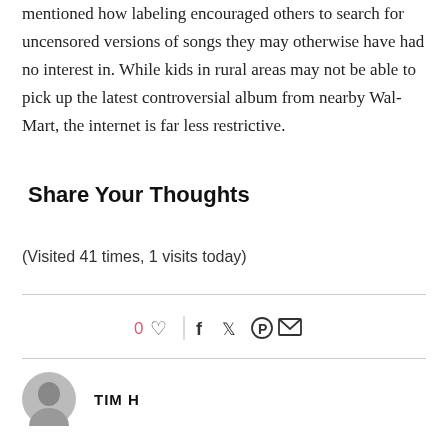mentioned how labeling encouraged others to search for uncensored versions of songs they may otherwise have had no interest in. While kids in rural areas may not be able to pick up the latest controversial album from nearby Wal-Mart, the internet is far less restrictive.
Share Your Thoughts
(Visited 41 times, 1 visits today)
[Figure (infographic): Social sharing bar with like count 0, heart icon, vertical separator, and social icons for Facebook, Twitter, Pinterest, and Email]
[Figure (photo): Author avatar circle image partially visible, followed by author name in uppercase bold text 'TIM H...']